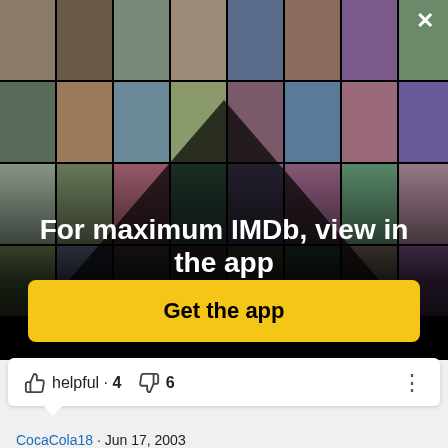[Figure (screenshot): IMDb app promotional overlay showing a collage of celebrity photos and movie posters arranged in a perspective grid on a black background, with a close (X) button in the top right corner]
For maximum IMDb, view in the app
Get the app
helpful · 4   6
CocaCola18 · Jun 17, 2003